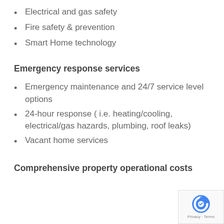Electrical and gas safety
Fire safety & prevention
Smart Home technology
Emergency response services
Emergency maintenance and 24/7 service level options
24-hour response ( i.e. heating/cooling, electrical/gas hazards, plumbing, roof leaks)
Vacant home services
Comprehensive property operational costs